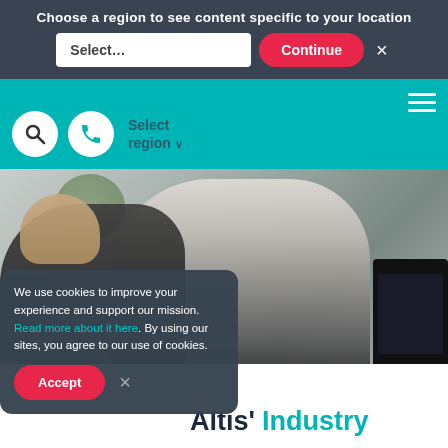Choose a region to see content specific to your location
Select...
Continue
[Figure (screenshot): Website navigation bar with teal background, search icon, phone icon, and Select region dropdown, with hamburger menu top right]
[Figure (photo): Two men looking at a computer monitor in an office setting, one leaning over the other smiling]
We use cookies to improve your experience and support our mission. Read more about it here. By using our sites, you agree to our use of cookies.
Accept
Altis' Industry